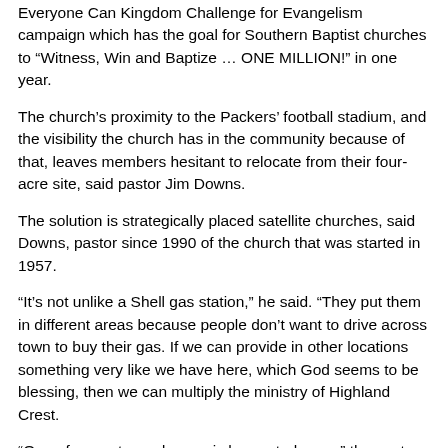Everyone Can Kingdom Challenge for Evangelism campaign which has the goal for Southern Baptist churches to “Witness, Win and Baptize … ONE MILLION!” in one year.
The church’s proximity to the Packers’ football stadium, and the visibility the church has in the community because of that, leaves members hesitant to relocate from their four-acre site, said pastor Jim Downs.
The solution is strategically placed satellite churches, said Downs, pastor since 1990 of the church that was started in 1957.
“It’s not unlike a Shell gas station,” he said. “They put them in different areas because people don’t want to drive across town to buy their gas. If we can provide in other locations something very like we have here, which God seems to be blessing, then we can multiply the ministry of Highland Crest.
“One of our untapped areas is house-to-house,” the pastor continued. “I think people are more willing to hear the Gospel than most people realize. For every one who might slam the door, I think